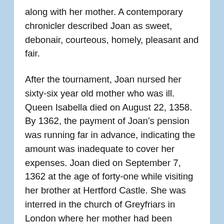along with her mother. A contemporary chronicler described Joan as sweet, debonair, courteous, homely, pleasant and fair.
After the tournament, Joan nursed her sixty-six year old mother who was ill. Queen Isabella died on August 22, 1358. By 1362, the payment of Joan’s pension was running far in advance, indicating the amount was inadequate to cover her expenses. Joan died on September 7, 1362 at the age of forty-one while visiting her brother at Hertford Castle. She was interred in the church of Greyfriars in London where her mother had been buried. About a year later, King David married Margaret Drummond.
Further reading: “The Origins of Scotland’s National Identity” by T J Dowds, “Scottish Queens 1034-1714” by Rosalind Marshall, “The Kings and Queens